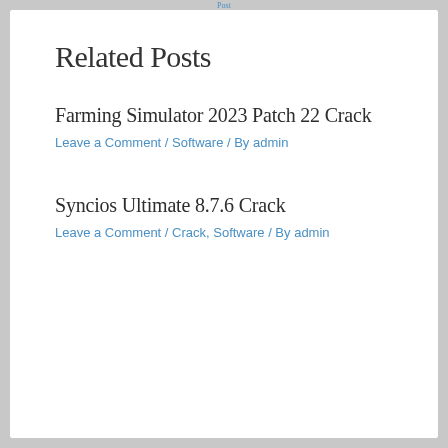Post
Related Posts
Farming Simulator 2023 Patch 22 Crack
Leave a Comment / Software / By admin
Syncios Ultimate 8.7.6 Crack
Leave a Comment / Crack, Software / By admin